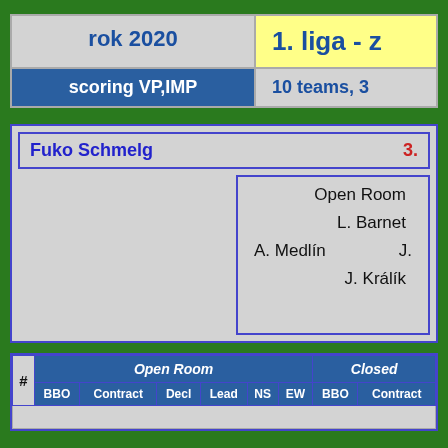| rok 2020 | 1. liga - z |
| --- | --- |
| scoring VP,IMP | 10 teams, 3 |
Fuko Schmelg  3.
Open Room
L. Barnet
A. Medlín
J.
J. Králík
| # | Open Room | Closed |
| --- | --- | --- |
|  | BBO | Contract | Decl | Lead | NS | EW | BBO | Contract | De |  |